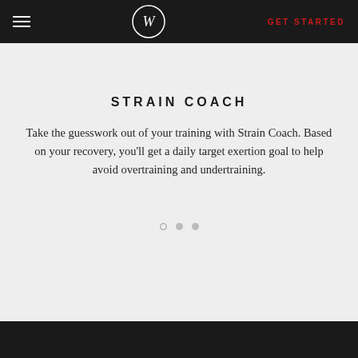≡  W  GET STARTED
STRAIN COACH
Take the guesswork out of your training with Strain Coach. Based on your recovery, you'll get a daily target exertion goal to help avoid overtraining and undertraining.
[Figure (other): Three pagination dots (one outline circle, two filled grey circles) indicating a carousel with the current slide active on the first dot]